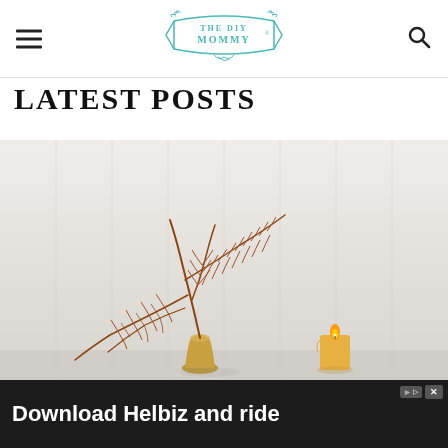THE DIY MOMMY (logo with hamburger menu and search icon)
LATEST POSTS
[Figure (photo): A decorative dried orange fern plant in a gold vase with a yellow candle, photographed against a soft white/grey wood-paneled background.]
Download Helbiz and ride